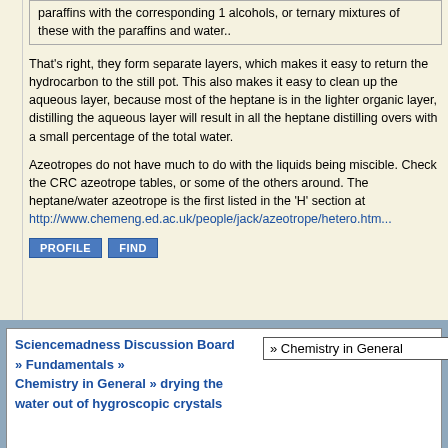paraffins with the corresponding 1 alcohols, or ternary mixtures of these with the paraffins and water..
That's right, they form separate layers, which makes it easy to return the hydrocarbon to the still pot. This also makes it easy to clean up the aqueous layer, because most of the heptane is in the lighter organic layer, distilling the aqueous layer will result in all the heptane distilling overs with a small percentage of the total water.
Azeotropes do not have much to do with the liquids being miscible. Check the CRC azeotrope tables, or some of the others around. The heptane/water azeotrope is the first listed in the 'H' section at http://www.chemeng.ed.ac.uk/people/jack/azeotrope/hetero.htm...
Sciencemadness Discussion Board » Fundamentals » Chemistry in General » drying the water out of hygroscopic crystals
» Chemistry in General